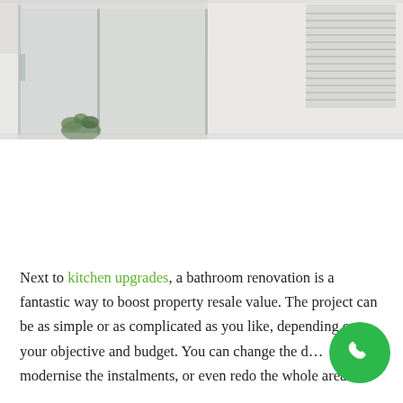[Figure (photo): Interior bathroom/hallway photo showing a modern white room with glass partition, white walls, green plant, window with venetian blinds on the right]
Next to kitchen upgrades, a bathroom renovation is a fantastic way to boost property resale value. The project can be as simple or as complicated as you like, depending on your objective and budget. You can change the d… modernise the instalments, or even redo the whole area. It